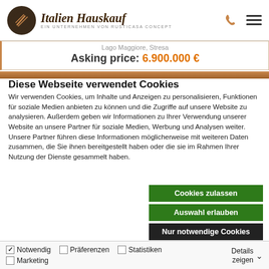[Figure (logo): Italien Hauskauf logo with dark circular emblem and italic serif text, subtitle: EIN UNTERNEHMEN VON RUSTICASA CONCEPT]
Lago Maggiore, Stresa
Asking price: 6.900.000 €
Diese Webseite verwendet Cookies
Wir verwenden Cookies, um Inhalte und Anzeigen zu personalisieren, Funktionen für soziale Medien anbieten zu können und die Zugriffe auf unsere Website zu analysieren. Außerdem geben wir Informationen zu Ihrer Verwendung unserer Website an unsere Partner für soziale Medien, Werbung und Analysen weiter. Unsere Partner führen diese Informationen möglicherweise mit weiteren Daten zusammen, die Sie ihnen bereitgestellt haben oder die sie im Rahmen Ihrer Nutzung der Dienste gesammelt haben.
Cookies zulassen
Auswahl erlauben
Nur notwendige Cookies
Notwendig  Präferenzen  Statistiken  Marketing  Details zeigen